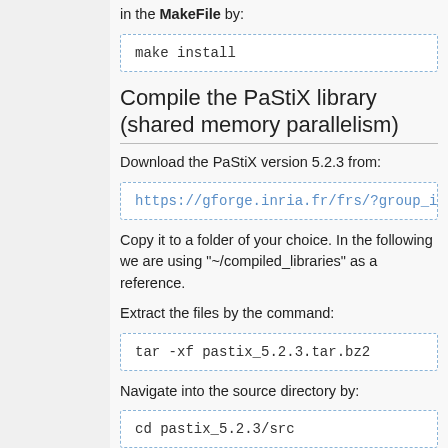in the MakeFile by:
make install
Compile the PaStiX library (shared memory parallelism)
Download the PaStiX version 5.2.3 from:
https://gforge.inria.fr/frs/?group_id=186...
Copy it to a folder of your choice. In the following we are using "~/compiled_libraries" as a reference.
Extract the files by the command:
tar -xf pastix_5.2.3.tar.bz2
Navigate into the source directory by:
cd pastix_5.2.3/src
The different config files can be found in the config folder. You have to copy the one fitting to